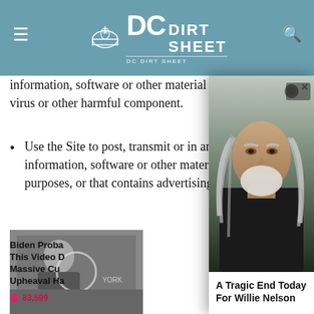DC DIRT SHEET
information, software or other material that contains a virus or other harmful component.
Use the Site to post, transmit or in any way exploit any information, software or other material for commercial purposes, or that contains advertising.
Use the Site to [obscured by popup] products or services [obscured by popup]
[Figure (photo): Thumbnail image of a man in a dark suit on a TV set, with a circle overlay graphic.]
Biden Proba[bly] This Video D[oes] Massive Cu[rrency] Upheaval Ha[s]
83,599
[Figure (photo): Popup modal showing close-up photo of elderly man with long gray hair and beard, Willie Nelson.]
A Tragic End Today For Willie Nelson